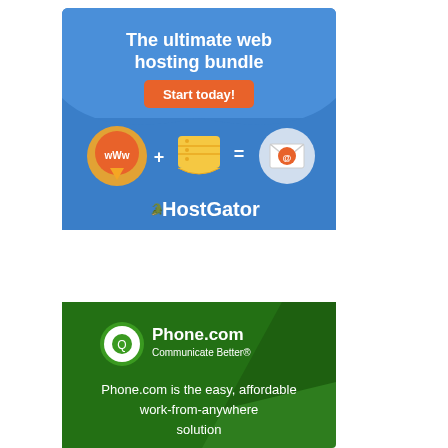[Figure (infographic): HostGator advertisement: 'The ultimate web hosting bundle' with orange 'Start today!' button, icons showing www + server = email, and HostGator logo]
[Figure (infographic): Phone.com advertisement: Phone.com logo with 'Communicate Better®' tagline, dark green diagonal band, text 'Phone.com is the easy, affordable work-from-anywhere solution']